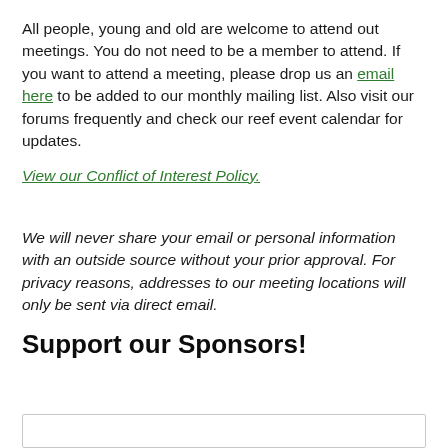All people, young and old are welcome to attend out meetings. You do not need to be a member to attend. If you want to attend a meeting, please drop us an email here to be added to our monthly mailing list. Also visit our forums frequently and check our reef event calendar for updates.
View our Conflict of Interest Policy.
We will never share your email or personal information with an outside source without your prior approval. For privacy reasons, addresses to our meeting locations will only be sent via direct email.
Support our Sponsors!
[Figure (other): Empty outlined box at the bottom of the page]